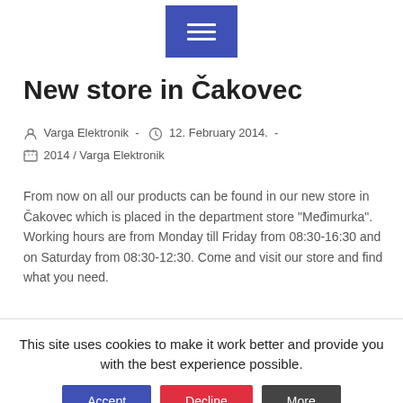Navigation menu button (hamburger icon)
New store in Čakovec
Varga Elektronik  -  12. February 2014.  -  2014 / Varga Elektronik
From now on all our products can be found in our new store in Čakovec which is placed in the department store "Međimurka". Working hours are from Monday till Friday from 08:30-16:30 and on Saturday from 08:30-12:30. Come and visit our store and find what you need.
This site uses cookies to make it work better and provide you with the best experience possible.
Accept | Decline | More